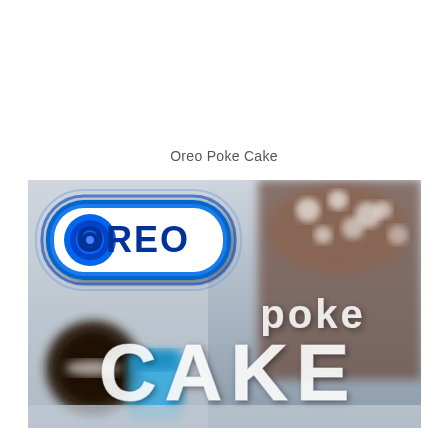Oreo Poke Cake
[Figure (photo): Promotional image for Oreo Poke Cake showing the OREO brand logo at top left with blue and white styling, blurred background showing an Oreo cookie and a blue container and chocolate cake with cream, with text 'poke' and 'CAKE' in white over the image.]